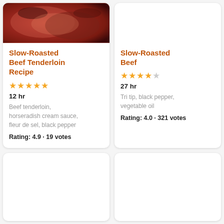[Figure (photo): Close-up photo of slow-roasted beef tenderloin, showing pink cooked meat]
Slow-Roasted Beef Tenderloin Recipe
★★★★★
12 hr
Beef tenderloin, horseradish cream sauce, fleur de sel, black pepper
Rating: 4.9 · 19 votes
Slow-Roasted Beef
★★★★
27 hr
Tri tip, black pepper, vegetable oil
Rating: 4.0 · 321 votes